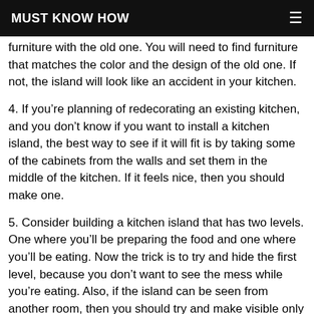MUST KNOW HOW
furniture with the old one. You will need to find furniture that matches the color and the design of the old one. If not, the island will look like an accident in your kitchen.
4. If you’re planning of redecorating an existing kitchen, and you don’t know if you want to install a kitchen island, the best way to see if it will fit is by taking some of the cabinets from the walls and set them in the middle of the kitchen. If it feels nice, then you should make one.
5. Consider building a kitchen island that has two levels. One where you’ll be preparing the food and one where you’ll be eating. Now the trick is to try and hide the first level, because you don’t want to see the mess while you’re eating. Also, if the island can be seen from another room, then you should try and make visible only the second level, the one where you’ll eat.